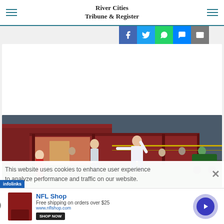River Cities Tribune & Register
[Figure (screenshot): Social sharing buttons: Facebook (blue), Twitter (light blue), WhatsApp (green), Messenger (blue), Email (grey)]
[Figure (photo): Soccer players on a field near a red-roofed dugout structure, one player in white with arms outstretched, another in red uniform]
This website uses cookies to enhance user experience to analyze performance and traffic on our website.
[Figure (screenshot): NFL Shop advertisement: Free shipping on orders over $25, www.nflshop.com, SHOP NOW button, with maroon shorts product image]